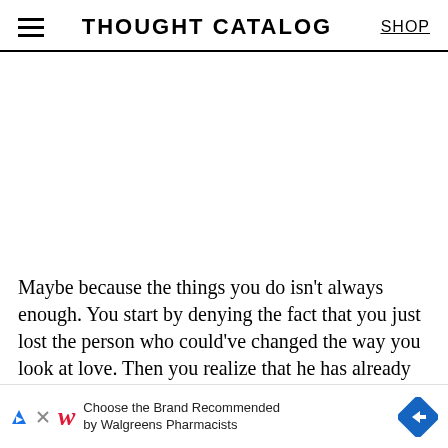THOUGHT CATALOG | SHOP
Maybe because the things you do isn't always enough. You start by denying the fact that you just lost the person who could've changed the way you look at love. Then you realize that he has already changed you. You're less afraid of telling people they matter to you now, all because you couldn't tell him that; and you couldn't afford to lose someone else. Yet telling t… only, the time co… yourself